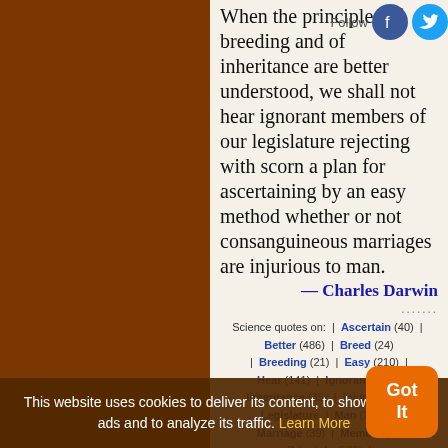When the principles of breeding and of inheritance are better understood, we shall not hear ignorant members of our legislature rejecting with scorn a plan for ascertaining by an easy method whether or not consanguineous marriages are injurious to man.
— Charles Darwin
....... Science quotes on: | Ascertain (40) | Better (486) | Breed (24) | Breeding (21) | Easy (210) | Hear (141) | Ignorant (90) | Inheritance (35) | Injurious (14) | Legislature (10) | Man (2252) | Marriage (39) | Member (40) | Principle (522) | Reject (65) | Scorn (12) | Understand (634) | Understood (156)
This website uses cookies to deliver its content, to show relevant ads and to analyze its traffic. Learn More